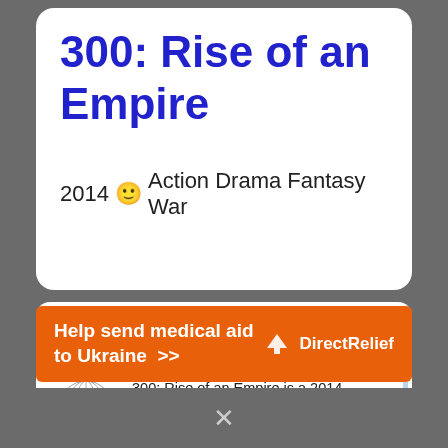300: Rise of an Empire
2014 🙂 Action Drama Fantasy War
Get movie 300: Rise of an Empire
[Figure (logo): Wikipedia globe logo with wordmark 'Wikipedia The Free Encyclopedia']
300: Rise of an Empire is a 2014 American fantasy war film directed by Noam Murro. film, acts as writer and producer on
[Figure (infographic): Orange Direct Relief ad banner: 'Help send medical aid to Ukraine >>' with Direct Relief logo]